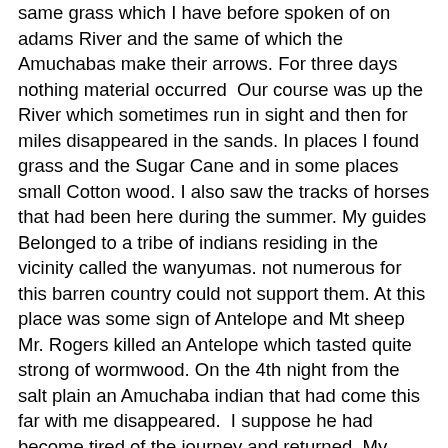same grass which I have before spoken of on adams River and the same of which the Amuchabas make their arrows. For three days nothing material occurred  Our course was up the River which sometimes run in sight and then for miles disappeared in the sands. In places I found grass and the Sugar Cane and in some places small Cotton wood. I also saw the tracks of horses that had been here during the summer. My guides Belonged to a tribe of indians residing in the vicinity called the wanyumas. not numerous for this barren country could not support them. At this place was some sign of Antelope and Mt sheep Mr. Rogers killed an Antelope which tasted quite strong of wormwood. On the 4th night from the salt plain an Amuchaba indian that had come this far with me disappeared.  I suppose he had become tired of the journey and returned. My guides had expected to find their families here but were disappointed.
The next day still following the course of the River which had a strong current in places 20 yds in width and in others entirely disappeared in the sands. After a long days travel I arrived late at a wan yu ma Lodge. close by were 2 or three